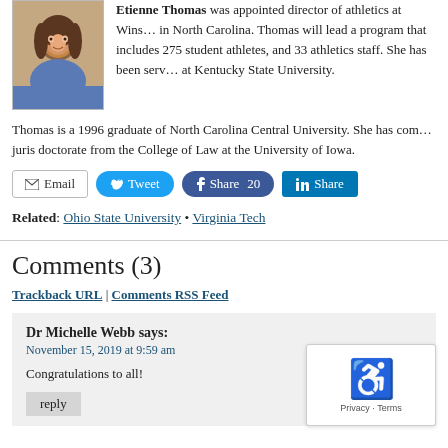[Figure (photo): Headshot photo of Etienne Thomas, a woman with shoulder-length dark hair, smiling]
Etienne Thomas was appointed director of athletics at Wins... in North Carolina. Thomas will lead a program that includes 275 student athletes, and 33 athletics staff. She has been serv... at Kentucky State University.
Thomas is a 1996 graduate of North Carolina Central University. She has com... juris doctorate from the College of Law at the University of Iowa.
Email | Tweet | Share 20 | Share (social share buttons)
Related: Ohio State University • Virginia Tech
Comments (3)
Trackback URL | Comments RSS Feed
Dr Michelle Webb says:
November 15, 2019 at 9:59 am

Congratulations to all!

reply